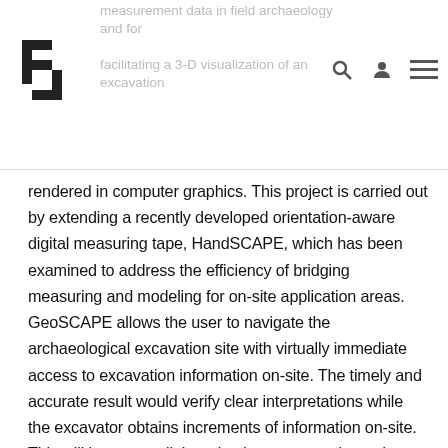...GeoSCAPE: an architecture for capturing measurement data in field archaeology and for facilitating a 3-D visualization of an excavation
rendered in computer graphics. This project is carried out by extending a recently developed orientation-aware digital measuring tape, HandSCAPE, which has been examined to address the efficiency of bridging measuring and modeling for on-site application areas. GeoSCAPE allows the user to navigate the archaeological excavation site with virtually immediate access to excavation information on-site. The timely and accurate result would verify clear interpretations while the excavator obtains increments of information on-site. This will improve collaboration between on-site and